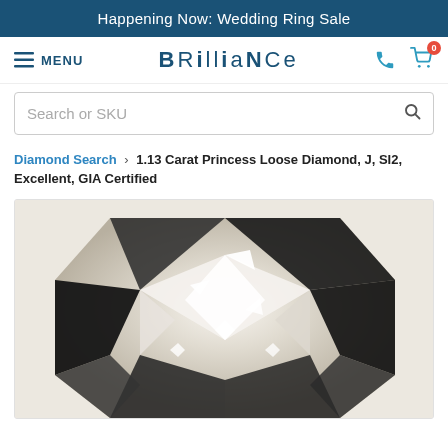Happening Now: Wedding Ring Sale
[Figure (logo): Brilliance logo with hamburger menu, phone icon, and cart icon with badge showing 0]
Search or SKU
Diamond Search › 1.13 Carat Princess Loose Diamond, J, SI2, Excellent, GIA Certified
[Figure (photo): Close-up photo of a princess cut loose diamond showing facets with black and white reflections on a beige/cream background]